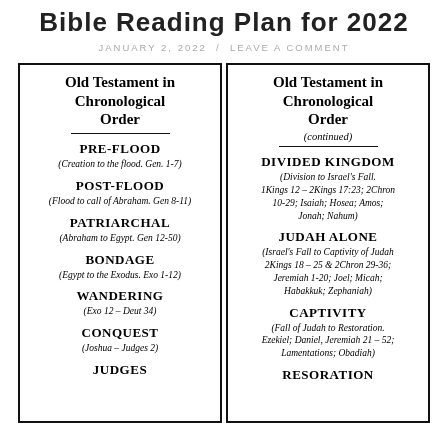Bible Reading Plan for 2022
JANUARY 2, 2022 / LEAVE A COMMENT
| Old Testament in Chronological Order | Old Testament in Chronological Order (continued) |
| --- | --- |
| PRE-FLOOD
(Creation to the flood. Gen. 1-7) | DIVIDED KINGDOM
(Division to Israel's Fall. 1Kings 12 – 2Kings 17:23; 2Chron 10-29; Isaiah; Hosea; Amos; Jonah; Nahum) |
| POST-FLOOD
(Flood to call of Abraham. Gen 8-11) | JUDAH ALONE
(Israel's Fall to Captivity of Judah 2Kings 18 – 25 & 2Chron 29-36; Jeremiah 1-20; Joel; Micah; Habakkuk; Zephaniah) |
| PATRIARCHAL
(Abraham to Egypt. Gen 12-50) | CAPTIVITY
(Fall of Judah to Restoration. Ezekiel; Daniel, Jeremiah 21 – 52; Lamentations; Obadiah) |
| BONDAGE
(Egypt to the Exodus. Exo 1-12) | RESORATION |
| WANDERING
(Exo 12 – Deut 34) |  |
| CONQUEST
(Joshua – Judges 2) |  |
| JUDGES |  |